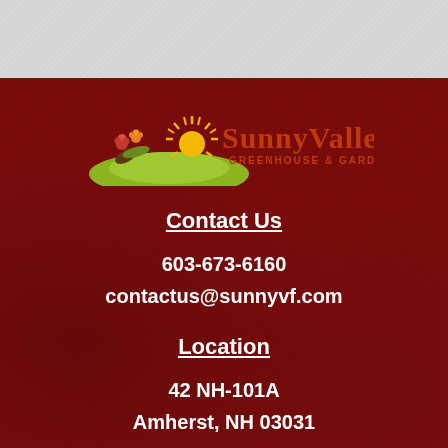[Figure (logo): Sunny Valley Greenhouse & Garden Centers logo with sun, green hill, and flowers]
Contact Us
603-673-6160
contactus@sunnyvf.com
Location
42 NH-101A
Amherst, NH 03031